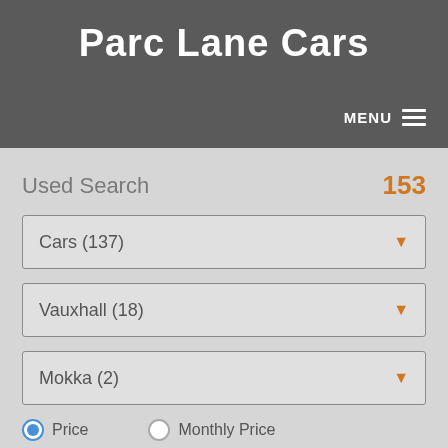Parc Lane Cars
MENU
Used Search
153
Cars (137)
Vauxhall (18)
Mokka (2)
Price
Monthly Price
Min Price
(0) Saved Vehicles